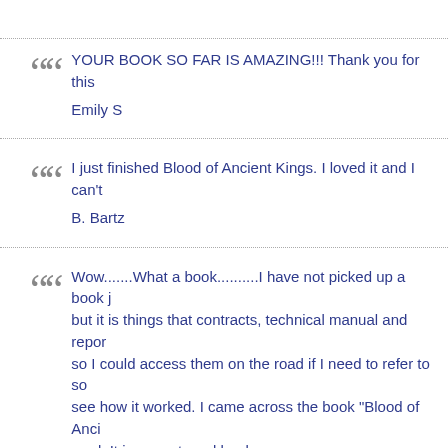YOUR BOOK SO FAR IS AMAZING!!! Thank you for this
Emily S
I just finished Blood of Ancient Kings. I loved it and I can't
B. Bartz
Wow.......What a book..........I have not picked up a book j but it is things that contracts, technical manual and repor so I could access them on the road if I need to refer to so see how it worked. I came across the book "Blood of Anci read. It is a must read book.